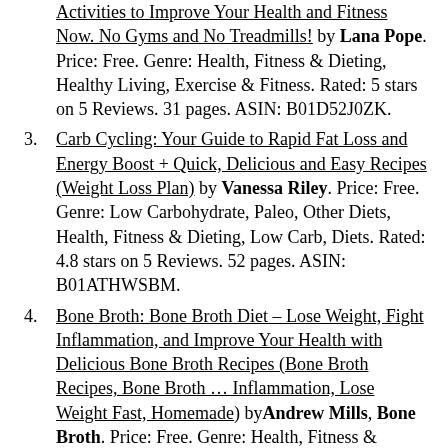Activities to Improve Your Health and Fitness Now. No Gyms and No Treadmills! by Lana Pope. Price: Free. Genre: Health, Fitness & Dieting, Healthy Living, Exercise & Fitness. Rated: 5 stars on 5 Reviews. 31 pages. ASIN: B01D52J0ZK.
Carb Cycling: Your Guide to Rapid Fat Loss and Energy Boost + Quick, Delicious and Easy Recipes (Weight Loss Plan) by Vanessa Riley. Price: Free. Genre: Low Carbohydrate, Paleo, Other Diets, Health, Fitness & Dieting, Low Carb, Diets. Rated: 4.8 stars on 5 Reviews. 52 pages. ASIN: B01ATHWSBM.
Bone Broth: Bone Broth Diet – Lose Weight, Fight Inflammation, and Improve Your Health with Delicious Bone Broth Recipes (Bone Broth Recipes, Bone Broth ... Inflammation, Lose Weight Fast, Homemade) by Andrew Mills, Bone Broth. Price: Free. Genre: Health, Fitness & Dieting, Weight Maintenance, Other Diets, Weight